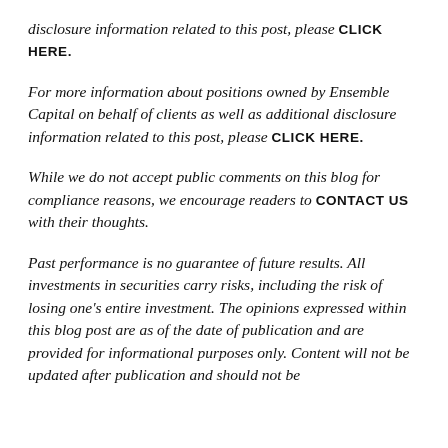disclosure information related to this post, please CLICK HERE.
For more information about positions owned by Ensemble Capital on behalf of clients as well as additional disclosure information related to this post, please CLICK HERE.
While we do not accept public comments on this blog for compliance reasons, we encourage readers to CONTACT US with their thoughts.
Past performance is no guarantee of future results. All investments in securities carry risks, including the risk of losing one's entire investment. The opinions expressed within this blog post are as of the date of publication and are provided for informational purposes only. Content will not be updated after publication and should not be...